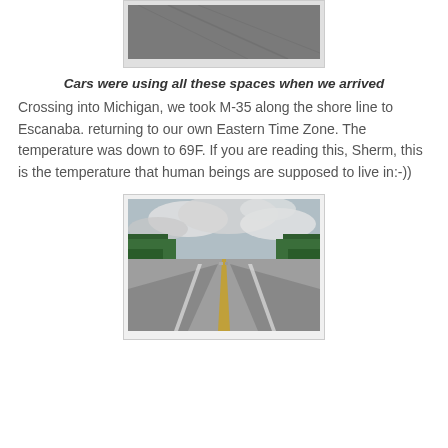[Figure (photo): Top portion of a photo showing a gray paved surface, partially cropped at the top of the page]
Cars were using all these spaces when we arrived
Crossing into Michigan, we took M-35 along the shore line to Escanaba. returning to our own Eastern Time Zone. The temperature was down to 69F. If you are reading this, Sherm, this is the temperature that human beings are supposed to live in:-))
[Figure (photo): A two-lane highway (M-35) stretching into the distance, flanked by dense green trees on both sides under a cloudy sky]